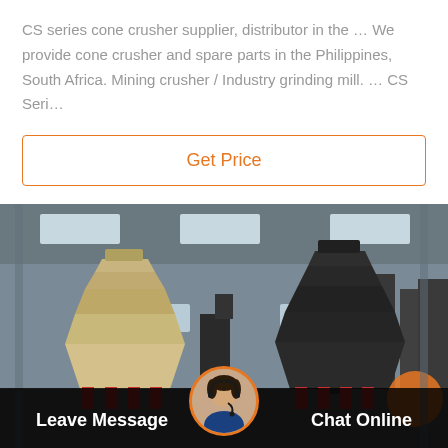CS series cone crusher supplier, distributor in the … We provide cone crusher and spare parts in the Philippines, South Africa. Mining crusher / Industry grinding mill. … CS Seri…
Get Price
[Figure (photo): Industrial factory floor with two large cone crushers — a tan/cream-colored one on the left and a dark gray one on the right — inside a large steel-framed warehouse. Bottom overlay bar shows 'Leave Message' on the left, a circular avatar of a customer service agent in the center, and 'Chat Online' on the right.]